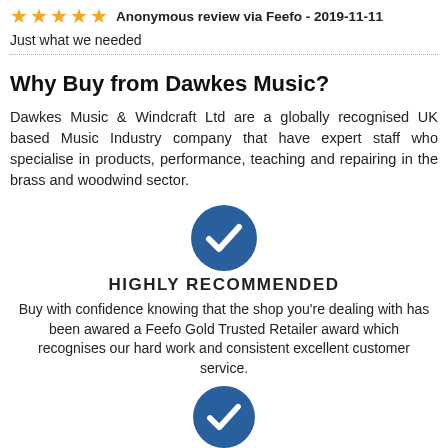★★★★★  Anonymous review via Feefo  -  2019-11-11
Just what we needed
Why Buy from Dawkes Music?
Dawkes Music & Windcraft Ltd are a globally recognised UK based Music Industry company that have expert staff who specialise in products, performance, teaching and repairing in the brass and woodwind sector.
[Figure (illustration): Blue circle with white checkmark icon]
HIGHLY RECOMMENDED
Buy with confidence knowing that the shop you're dealing with has been awared a Feefo Gold Trusted Retailer award which recognises our hard work and consistent excellent customer service.
[Figure (illustration): Blue circle with white checkmark icon]